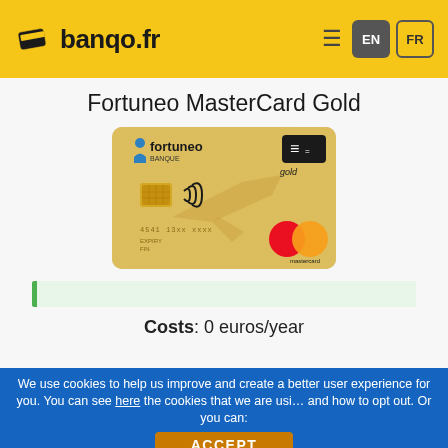banqo.fr
Fortuneo MasterCard Gold
[Figure (photo): Gold Fortuneo MasterCard credit card with chip, contactless symbol, Mastercard logo, and CB gold logo on a gold background]
Costs: 0 euros/year
We use cookies to help us improve and create a better user experience for you. You can see here the cookies that we are using and how to opt out. Or you can:
ACCEPT